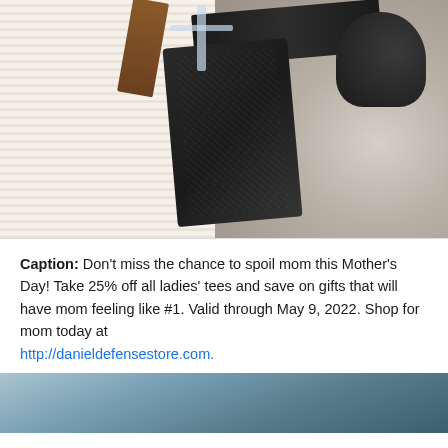[Figure (photo): Close-up photograph of a black AR-style rifle lower receiver sitting on an open Bible, with a clear cross ornament and a brown leather strap nearby. Gravel visible in the background on the right side.]
Caption: Don't miss the chance to spoil mom this Mother's Day! Take 25% off all ladies' tees and save on gifts that will have mom feeling like #1. Valid through May 9, 2022. Shop for mom today at http://danieldefensestore.com.
[Figure (photo): Partial photo at bottom of page, appears to show an outdoor scene, only top portion visible.]